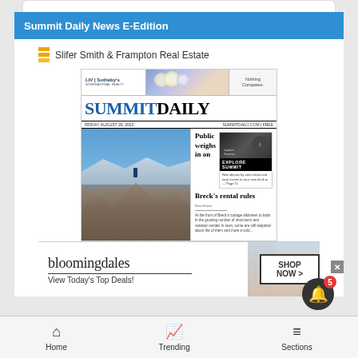Summit Daily News E-Edition
[Figure (screenshot): Slifer Smith & Frampton Real Estate sponsor logo with yellow/orange icon]
[Figure (screenshot): Summit Daily newspaper front page showing: LIV Sotheby's ad with flowers and 'Nothing Compares.' tagline; SUMMIT DAILY masthead in blue and black; date FRIDAY, AUGUST 26, 2022; SUMMITDAILY.COM | FREE; main photo of hiker on mountain ridge with snow-capped peaks; headline 'Public weighs in on Breck's rental rules'; Explore Summit section about new albums by area artists and local events to try a new drink at — Page 11]
[Figure (screenshot): Bloomingdale's advertisement: 'bloomingdales View Today's Top Deals! SHOP NOW >' with woman in hat image]
Home   Trending   Sections